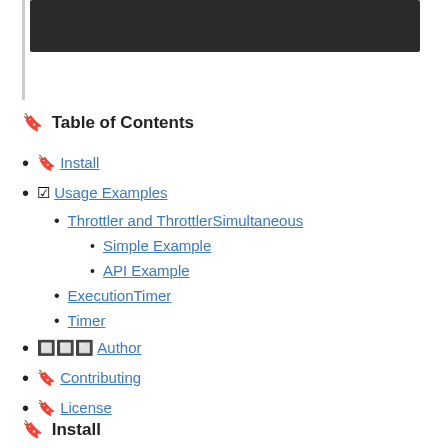[Figure (screenshot): Dark/black screenshot or image banner at the top of the page]
🔖 Table of Contents
🔖 Install
☑ Usage Examples
Throttler and ThrottlerSimultaneous
Simple Example
API Example
ExecutionTimer
Timer
👤👤👤 Author
🔖 Contributing
🔖 License
🔖 Install